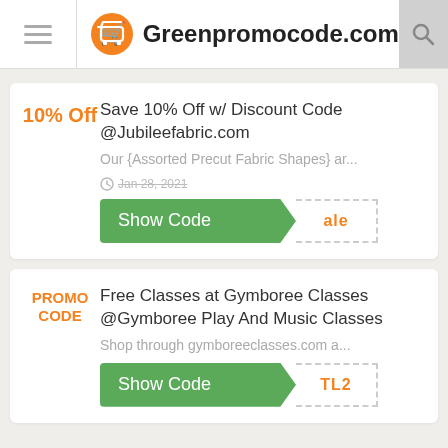Greenpromocode.com
10% Off
Save 10% Off w/ Discount Code @Jubileefabric.com
Our {Assorted Precut Fabric Shapes} ar...
Jan 28, 2021
Show Code  ale
PROMO CODE
Free Classes at Gymboree Classes @Gymboree Play And Music Classes
Shop through gymboreeclasses.com a...
Show Code  TL2